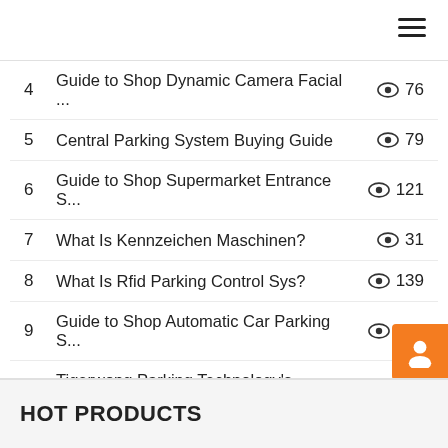4  Guide to Shop Dynamic Camera Facial ...  76
5  Central Parking System Buying Guide  79
6  Guide to Shop Supermarket Entrance S...  121
7  What Is Kennzeichen Maschinen?  31
8  What Is Rfid Parking Control Sys?  139
9  Guide to Shop Automatic Car Parking S...  108
10  Tigerwong Parking Technology's Sistem...  88
HOT PRODUCTS